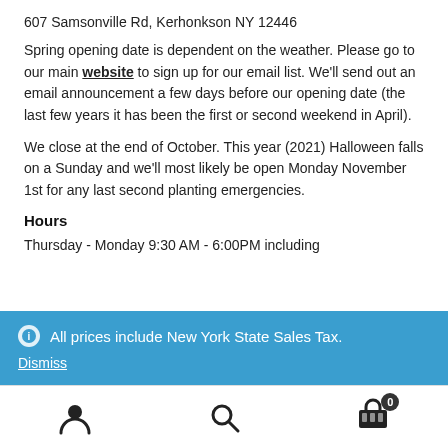607 Samsonville Rd, Kerhonkson NY 12446
Spring opening date is dependent on the weather. Please go to our main website to sign up for our email list. We'll send out an email announcement a few days before our opening date (the last few years it has been the first or second weekend in April).
We close at the end of October. This year (2021) Halloween falls on a Sunday and we'll most likely be open Monday November 1st for any last second planting emergencies.
Hours
Thursday - Monday 9:30 AM - 6:00PM including
All prices include New York State Sales Tax.
Dismiss